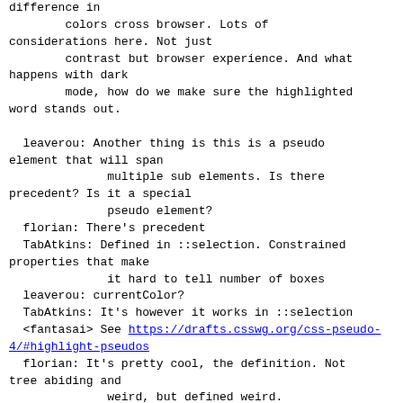difference in
        colors cross browser. Lots of considerations here. Not just
        contrast but browser experience. And what happens with dark
        mode, how do we make sure the highlighted word stands out.

  leaverou: Another thing is this is a pseudo element that will span
              multiple sub elements. Is there precedent? Is it a special
              pseudo element?
  florian: There's precedent
  TabAtkins: Defined in ::selection. Constrained properties that make
              it hard to tell number of boxes
  leaverou: currentColor?
  TabAtkins: It's however it works in ::selection
  <fantasai> See https://drafts.csswg.org/css-pseudo-4/#highlight-pseudos
  florian: It's pretty cool, the definition. Not tree abiding and
              weird, but defined weird.
  <fantasai> The properties supported are not allowed to affect layout
              in any way
  una: Because of the contrast issue it might be good to allow this so